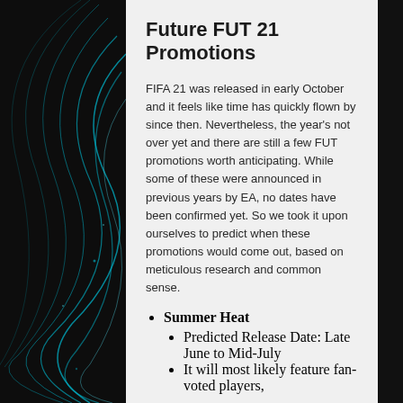Future FUT 21 Promotions
FIFA 21 was released in early October and it feels like time has quickly flown by since then. Nevertheless, the year’s not over yet and there are still a few FUT promotions worth anticipating. While some of these were announced in previous years by EA, no dates have been confirmed yet. So we took it upon ourselves to predict when these promotions would come out, based on meticulous research and common sense.
Summer Heat
Predicted Release Date: Late June to Mid-July
It will most likely feature fan-voted players,